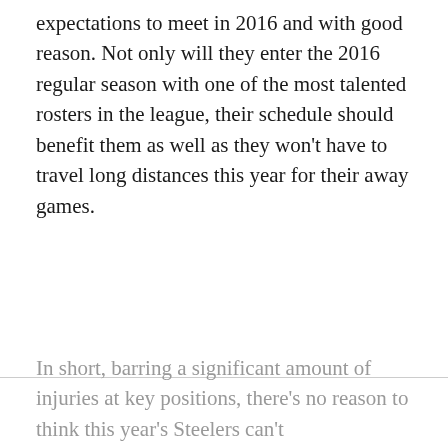expectations to meet in 2016 and with good reason. Not only will they enter the 2016 regular season with one of the most talented rosters in the league, their schedule should benefit them as well as they won't have to travel long distances this year for their away games.
In short, barring a significant amount of injuries at key positions, there's no reason to think this year's Steelers can't